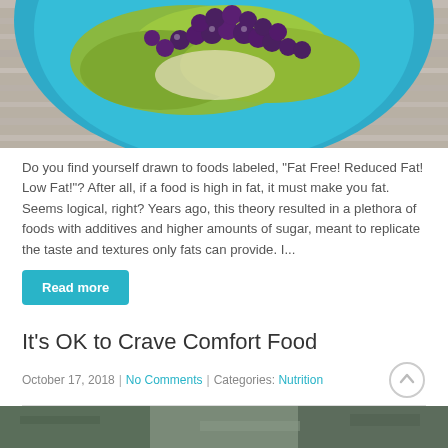[Figure (photo): Top portion of a blue bowl containing a salad with dark berries/grapes and greens, on a wooden surface.]
Do you find yourself drawn to foods labeled, "Fat Free! Reduced Fat! Low Fat!"? After all, if a food is high in fat, it must make you fat. Seems logical, right? Years ago, this theory resulted in a plethora of foods with additives and higher amounts of sugar, meant to replicate the taste and textures only fats can provide. I...
Read more
It's OK to Crave Comfort Food
October 17, 2018 | No Comments | Categories: Nutrition
[Figure (photo): Bottom portion of an image, partially visible at the bottom of the page.]